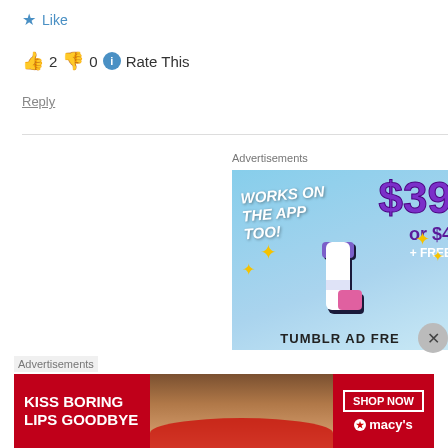★ Like
👍 2 👎 0 ℹ Rate This
Reply
Advertisements
[Figure (infographic): Tumblr Ad-Free promotion banner with Tumblr 't' logo, sparkles, text 'WORKS ON THE APP TOO!', price '$39 or $4', '+ FREE', on a light blue sky background, with 'TUMBLR AD FREE' text at bottom]
Advertisements
[Figure (infographic): Macy's advertisement banner: 'KISS BORING LIPS GOODBYE' in white text on red background, photo of woman with red lips, 'SHOP NOW' button, Macy's star logo]